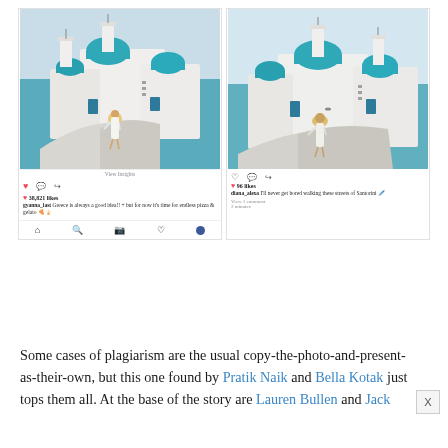[Figure (screenshot): Two side-by-side Instagram posts showing nearly identical photos taken in Santorini, Greece — white-washed buildings with blue domed churches and the sea in the background. Left post (by gyanna_last): woman in white dress and hat facing slightly left, 38,821 likes, caption 'Greece is always a good idea!! + but for now it's time for endless pizza & gelato'. Right post (by diana_alexa): woman in white dress and hat seen from behind, 96 likes, caption 'I'll never get bored walking these streets of Santorini ✏️'. Shows Instagram UI elements including hearts, comments, share icons, navigation bar.]
Some cases of plagiarism are the usual copy-the-photo-and-present-as-their-own, but this one found by Pratik Naik and Bella Kotak just tops them all. At the base of the story are Lauren Bullen and Jack